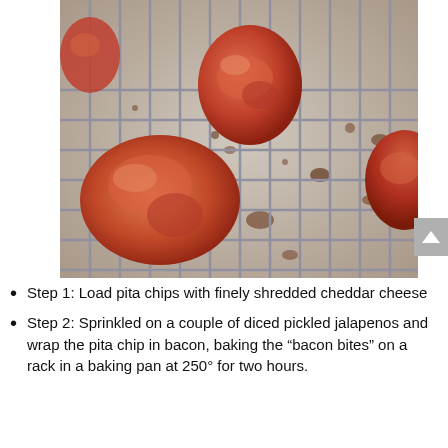[Figure (photo): Bacon-wrapped bites cooking on a metal wire rack over a baking pan, showing several pieces of bacon-wrapped food with caramelized drippings visible on the pan below.]
Step 1: Load pita chips with finely shredded cheddar cheese
Step 2: Sprinkled on a couple of diced pickled jalapenos and wrap the pita chip in bacon, baking the “bacon bites” on a rack in a baking pan at 250° for two hours.